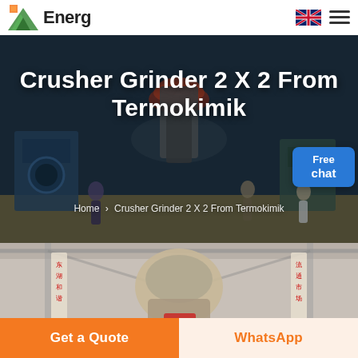Energ [logo] | EN flag | menu
[Figure (photo): Industrial machinery/crusher grinder equipment in a large factory setting with people posing in front]
Crusher Grinder 2 X 2 From Termokimik
Home › Crusher Grinder 2 X 2 From Termokimik
[Figure (photo): Product image of a crusher/grinder machine inside an industrial warehouse with Chinese signage]
Get a Quote
WhatsApp